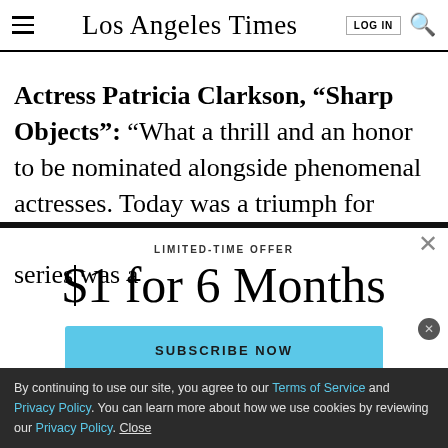Los Angeles Times
Actress Patricia Clarkson, “Sharp Objects”: “What a thrill and an honor to be nominated alongside phenomenal actresses. Today was a triumph for Sharp Objects. Working on this limited series was a
LIMITED-TIME OFFER
$1 for 6 Months
SUBSCRIBE NOW
By continuing to use our site, you agree to our Terms of Service and Privacy Policy. You can learn more about how we use cookies by reviewing our Privacy Policy. Close